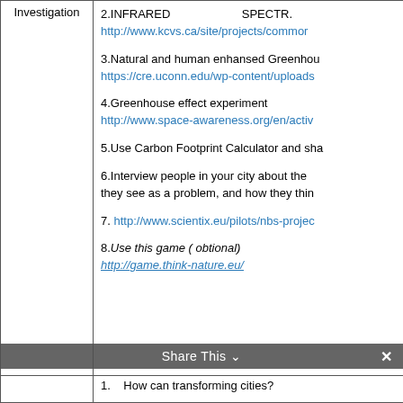|  | Content |
| --- | --- |
| Investigation | 2.INFRARED    SPECTR.
http://www.kcvs.ca/site/projects/commor

3.Natural and human enhansed Greenhou
https://cre.uconn.edu/wp-content/uploads

4.Greenhouse effect experiment
http://www.space-awareness.org/en/activ

5.Use Carbon Footprint Calculator and sha

6.Interview people in your city about the they see as a problem, and how they thin

7. http://www.scientix.eu/pilots/nbs-projec

8.Use this game ( obtional)
http://game.think-nature.eu/ |
|  | 1.   How can transforming cities? |
Share This